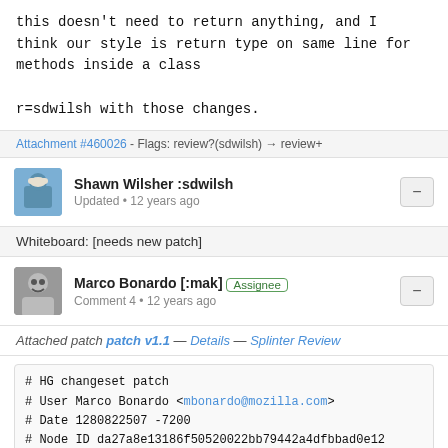this doesn't need to return anything, and I think our style is return type on same line for methods inside a class

r=sdwilsh with those changes.
Attachment #460026 - Flags: review?(sdwilsh) → review+
Shawn Wilsher :sdwilsh
Updated • 12 years ago
Whiteboard: [needs new patch]
Marco Bonardo [:mak]  Assignee
Comment 4 • 12 years ago
Attached patch patch v1.1 — Details — Splinter Review
# HG changeset patch
# User Marco Bonardo <mbonardo@mozilla.com>
# Date 1280822507 -7200
# Node ID da27a8e13186f50520022bb79442a4dfbbad0e12